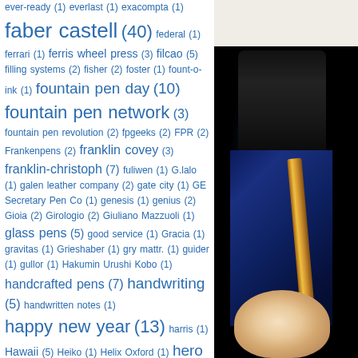ever-ready (1) everlast (1) exacompta (1) faber castell (40) federal (1) ferrari (1) ferris wheel press (3) filcao (5) filling systems (2) fisher (2) foster (1) fount-o-ink (1) fountain pen day (10) fountain pen network (3) fountain pen revolution (2) fpgeeks (2) FPR (2) Frankenpens (2) franklin covey (3) franklin-christoph (7) fuliwen (1) G.lalo (1) galen leather company (2) gate city (1) GE Secretary Pen Co (1) genesis (1) genius (2) Gioia (2) Girologio (2) Giuliano Mazzuoli (1) glass pens (5) good service (1) Gracia (1) gravitas (1) Grieshaber (1) gry mattr. (1) guider (1) gullor (1) Hakumin Urushi Kobo (1) handcrafted pens (7) handwriting (5) handwritten notes (1) happy new year (13) harris (1) Hawaii (5) Heiko (1) Helix Oxford (1) hero (12) history (2) hong kong (3) hongdian (2) hugo boss (1) Hunt (1) HYL (1) Imperial (1) incowrimo (2) india ink (1) Indigraph (1) Ingersoll (2) ink (43) ink sale (2) ink swap (14) inks (10) Inoxcrom (1) interviews (2) invicta (1) italix (1) itoya (2) j herbin (4) jac zagoory (1) Janelle Tyler (1) Jean-Pierre Lépine (1) jefferson (1) jinhao (32) kaco (2) kaigelu (4) kanilea pen company (2) kanwrite (2) karas kustoms (1) kaweco (37) ken cavers pens (1) kokuyo (1) Kosca (2) krone (1) kullock (2) kwz (2) kyo-no-ato (2) laban (11) Lamy (66) Lamy
[Figure (photo): Close-up photograph of a blue fountain pen with gold trim/clip against a warm brown background, with a finger visible at the bottom]